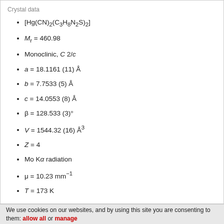Crystal data
[Hg(CN)₂(C₃H₈N₂S)₂]
Mr = 460.98
Monoclinic, C 2/c
a = 18.1161 (11) Å
b = 7.7533 (5) Å
c = 14.0553 (8) Å
β = 128.533 (3)°
V = 1544.32 (16) Å³
Z = 4
Mo Kα radiation
μ = 10.23 mm⁻¹
T = 173 K
We use cookies on our websites, and by using this site you are consenting to them: allow all or manage